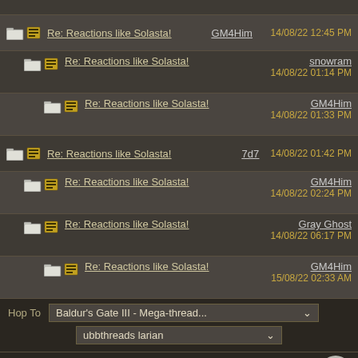Re: Reactions like Solasta! — GM4Him — 14/08/22 12:45 PM
Re: Reactions like Solasta! — snowram — 14/08/22 01:14 PM
Re: Reactions like Solasta! — GM4Him — 14/08/22 01:33 PM
Re: Reactions like Solasta! — 7d7 — 14/08/22 01:42 PM
Re: Reactions like Solasta! — GM4Him — 14/08/22 02:24 PM
Re: Reactions like Solasta! — Gray Ghost — 14/08/22 06:17 PM
Re: Reactions like Solasta! — GM4Him — 15/08/22 02:33 AM
Hop To: Baldur's Gate III - Mega-thread...
ubbthreads larian
Forum Rules · Mark All Read · Contact Us · Forum Help · Larian Studios · Powered by UBB.threads™ PHP Forum Software 7.7.5